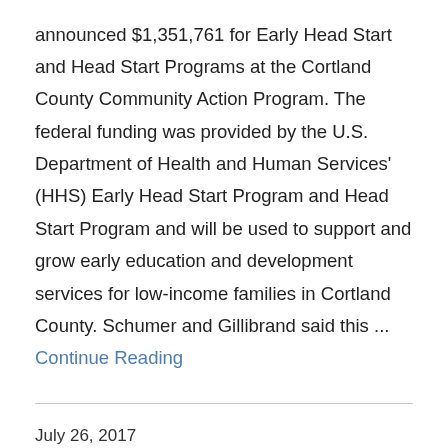announced $1,351,761 for Early Head Start and Head Start Programs at the Cortland County Community Action Program. The federal funding was provided by the U.S. Department of Health and Human Services' (HHS) Early Head Start Program and Head Start Program and will be used to support and grow early education and development services for low-income families in Cortland County. Schumer and Gillibrand said this ... Continue Reading
July 26, 2017
Schumer, Gillibrand Announce Nearly